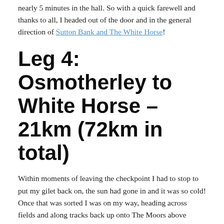nearly 5 minutes in the hall. So with a quick farewell and thanks to all, I headed out of the door and in the general direction of Sutton Bank and The White Horse!
Leg 4: Osmotherley to White Horse – 21km (72km in total)
Within moments of leaving the checkpoint I had to stop to put my gilet back on, the sun had gone in and it was so cold! Once that was sorted I was on my way, heading across fields and along tracks back up onto The Moors above Osmotherley.